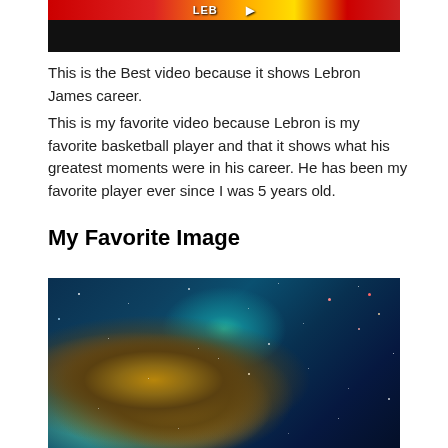[Figure (photo): Top portion of a video thumbnail showing LeBron James, with red/orange banner at top and dark background]
This is the Best video because it shows Lebron James career.
This is my favorite video because Lebron is my favorite basketball player and that it shows what his greatest moments were in his career. He has been my favorite player ever since I was 5 years old.
My Favorite Image
[Figure (photo): Hubble space telescope image of a nebula with glowing orange and teal gas clouds surrounded by stars against a dark blue space background]